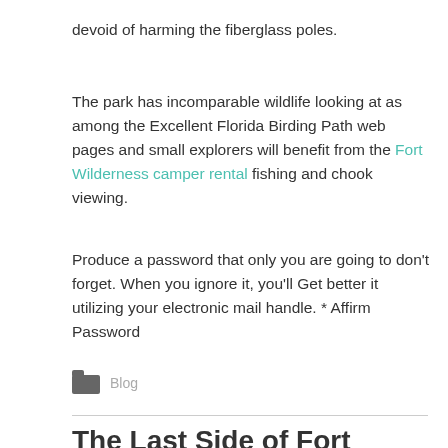devoid of harming the fiberglass poles.
The park has incomparable wildlife looking at as among the Excellent Florida Birding Path web pages and small explorers will benefit from the Fort Wilderness camper rental fishing and chook viewing.
Produce a password that only you are going to don't forget. When you ignore it, you'll Get better it utilizing your electronic mail handle. * Affirm Password
Blog
The Last Side of Fort Travel...